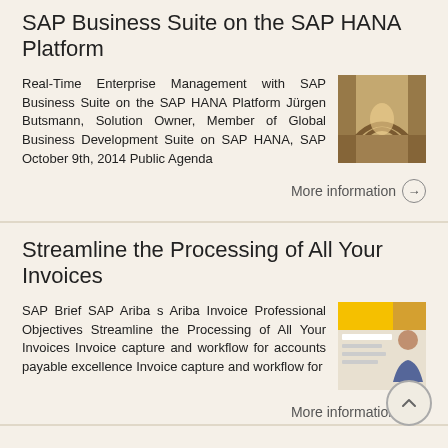SAP Business Suite on the SAP HANA Platform
Real-Time Enterprise Management with SAP Business Suite on the SAP HANA Platform Jürgen Butsmann, Solution Owner, Member of Global Business Development Suite on SAP HANA, SAP October 9th, 2014 Public Agenda
[Figure (photo): Photo of a tunnel or bridge walkway with arched ceiling]
More information →
Streamline the Processing of All Your Invoices
SAP Brief SAP Ariba s Ariba Invoice Professional Objectives Streamline the Processing of All Your Invoices Invoice capture and workflow for accounts payable excellence Invoice capture and workflow for
[Figure (photo): Photo of a person working, possibly reviewing invoices or documents]
More information →